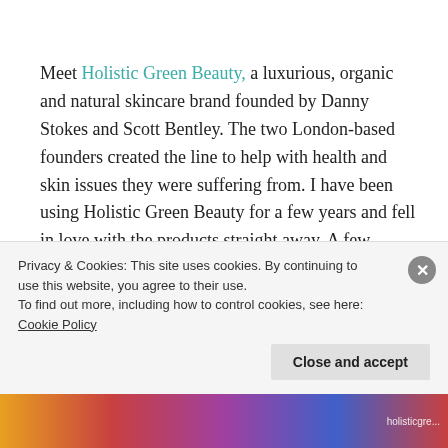Meet Holistic Green Beauty, a luxurious, organic and natural skincare brand founded by Danny Stokes and Scott Bentley. The two London-based founders created the line to help with health and skin issues they were suffering from. I have been using Holistic Green Beauty for a few years and fell in love with the products straight away. A few weeks ago, I had the pleasure of interviewing Danny and Scott, to find out about their inspirations, motivations and their latest additions t...
Privacy & Cookies: This site uses cookies. By continuing to use this website, you agree to their use.
To find out more, including how to control cookies, see here: Cookie Policy
Close and accept